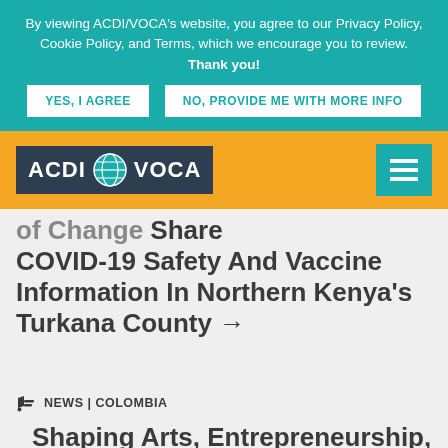By viewing ACDI/VOCA's website, you agree to our Privacy Policy, Cookie Policy, and Terms, which we encourage you to review. Thank you! YES, I AGREE | NO, PROVIDE ME WITH MORE INFO
[Figure (logo): ACDI/VOCA logo with globe icon on dark background, within an orange navigation bar with teal hamburger menu on the right]
...of Change Share COVID-19 Safety And Vaccine Information In Northern Kenya's Turkana County →
NEWS | COLOMBIA
Shaping Arts, Entrepreneurship, & Safe Spaces For Colombian Youth →